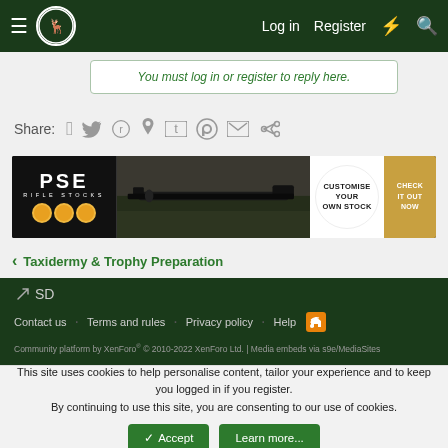Log in  Register
You must log in or register to reply here.
Share:
[Figure (screenshot): PSE Rifle Stocks advertisement banner with rifle image, 'CUSTOMISE YOUR OWN STOCK' text and 'CHECK IT OUT NOW' button]
Taxidermy & Trophy Preparation
SD
Contact us  Terms and rules  Privacy policy  Help
Community platform by XenForo® © 2010-2022 XenForo Ltd. | Media embeds via s9e/MediaSites
This site uses cookies to help personalise content, tailor your experience and to keep you logged in if you register.
By continuing to use this site, you are consenting to our use of cookies.
Accept  Learn more...